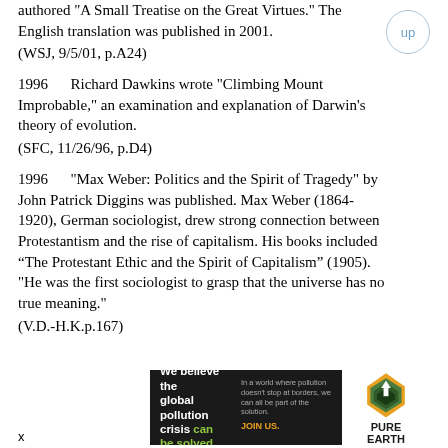authored "A Small Treatise on the Great Virtues." The English translation was published in 2001.
    (WSJ, 9/5/01, p.A24)
1996      Richard Dawkins wrote "Climbing Mount Improbable," an examination and explanation of Darwin’s theory of evolution.
    (SFC, 11/26/96, p.D4)
1996      "Max Weber: Politics and the Spirit of Tragedy" by John Patrick Diggins was published. Max Weber (1864-1920), German sociologist, drew strong connection between Protestantism and the rise of capitalism. His books included “The Protestant Ethic and the Spirit of Capitalism” (1905). "He was the first sociologist to grasp that the universe has no true meaning."
    (V.D.-H.K.p.167)
[Figure (infographic): Pure Earth advertisement: 'We believe the global pollution crisis can be solved.' with tagline 'In a world where pollution doesn't stop at borders, we can all be part of the solution. JOIN US.' and Pure Earth logo.]
x